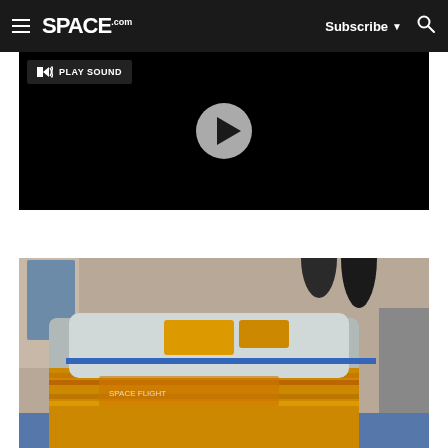SPACE.com — Subscribe — Search
[Figure (screenshot): Video player with black background, play sound button in top left, and a large circular play button in the center]
[Figure (photo): A spacecraft or instrument component wrapped in silver thermal insulation with orange/gold patches and blue tape, sitting on a blue surface in a laboratory environment]